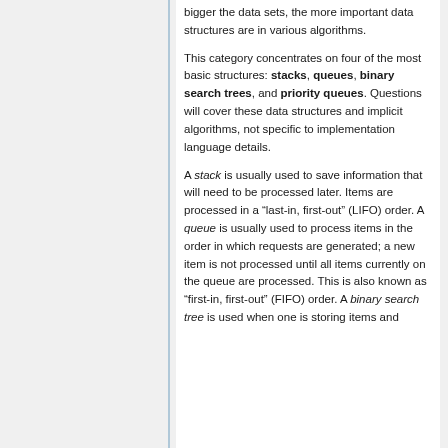bigger the data sets, the more important data structures are in various algorithms.
This category concentrates on four of the most basic structures: stacks, queues, binary search trees, and priority queues. Questions will cover these data structures and implicit algorithms, not specific to implementation language details.
A stack is usually used to save information that will need to be processed later. Items are processed in a “last-in, first-out” (LIFO) order. A queue is usually used to process items in the order in which requests are generated; a new item is not processed until all items currently on the queue are processed. This is also known as “first-in, first-out” (FIFO) order. A binary search tree is used when one is storing items and...